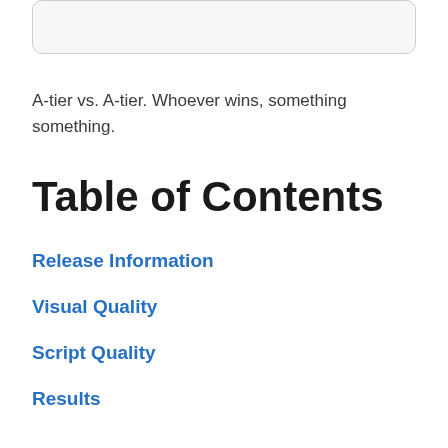[Figure (other): Rounded rectangle box at top of page]
A-tier vs. A-tier. Whoever wins, something something.
Table of Contents
Release Information
Visual Quality
Script Quality
Results